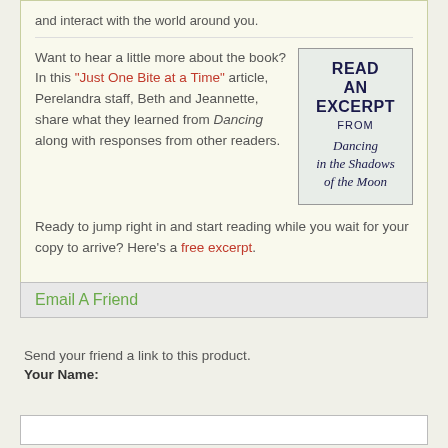and interact with the world around you.
Want to hear a little more about the book? In this "Just One Bite at a Time" article, Perelandra staff, Beth and Jeannette, share what they learned from Dancing along with responses from other readers.
[Figure (illustration): Book excerpt promotional image: READ AN EXCERPT FROM Dancing in the Shadows of the Moon]
Ready to jump right in and start reading while you wait for your copy to arrive? Here's a free excerpt.
Email A Friend
Send your friend a link to this product.
Your Name: